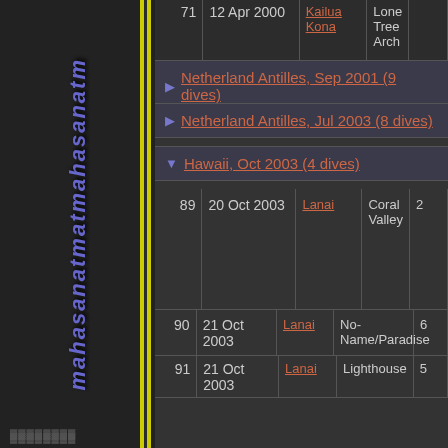| # | Date | Location | Site |  |
| --- | --- | --- | --- | --- |
| 71 | 12 Apr 2000 | Kailua Kona | Lone Tree Arch |  |
| 89 | 20 Oct 2003 | Lanai | Coral Valley | 2 |
| 90 | 21 Oct 2003 | Lanai | No-Name/Paradise | 6 |
| 91 | 21 Oct 2003 | Lanai | Lighthouse | 5 |
| 92 | 24 Oct 2003 | Molokai | Fish Rain | 8 |
Netherland Antilles, Sep 2001 (9 dives)
Netherland Antilles, Jul 2003 (8 dives)
Hawaii, Oct 2003 (4 dives)
Thailand, May-Jun 2004 (8 dives)